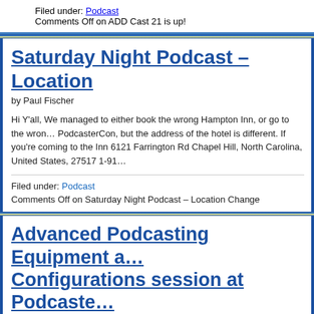Filed under: Podcast
Comments Off on ADD Cast 21 is up!
Saturday Night Podcast – Location…
by Paul Fischer
Hi Y'all, We managed to either book the wrong Hampton Inn, or go to the wrong PodcasterCon, but the address of the hotel is different. If you're coming to the Inn 6121 Farrington Rd Chapel Hill, North Carolina, United States, 27517 1-91…
Filed under: Podcast
Comments Off on Saturday Night Podcast – Location Change
Advanced Podcasting Equipment and Configurations session at Podcaste…
by Paul Fischer
I will be leading the discussion on Advanced Podcasting Equipment and Configurations so that I can teach and so that I can learn. I will be speaking with you, not speaking to you. working together toward greater understanding. Podcastercon is this Saturday…
Filed under: Podcast